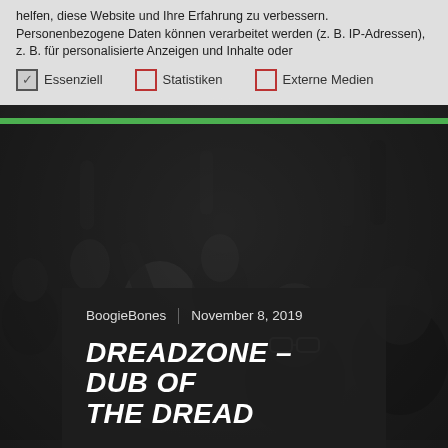helfen, diese Website und Ihre Erfahrung zu verbessern. Personenbezogene Daten können verarbeitet werden (z. B. IP-Adressen), z. B. für personalisierte Anzeigen und Inhalte oder
Essenziell    Statistiken    Externe Medien
[Figure (photo): Black and white photo of a crowd at a concert or event, people with arms raised, smiling, one person wearing glasses]
BoogieBones | November 8, 2019
DREADZONE – DUB OF THE DREAD